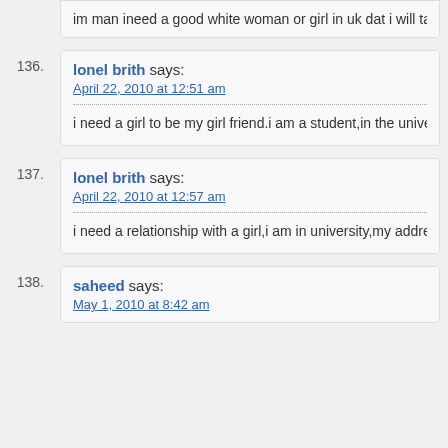im man ineed a good white woman or girl in uk dat i will take care of
136. lonel brith says: April 22, 2010 at 12:51 am — i need a girl to be my girl friend.i am a student,in the university.my addre...
137. lonel brith says: April 22, 2010 at 12:57 am — i need a relationship with a girl,i am in university,my address igwe.lonel@...
138. saheed says: May 1, 2010 at 8:42 am